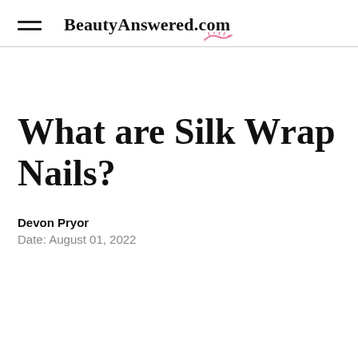BeautyAnswered.com
What are Silk Wrap Nails?
Devon Pryor
Date: August 01, 2022